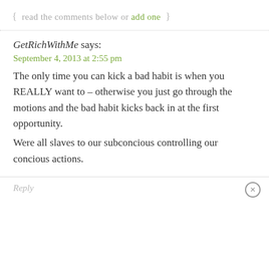{ read the comments below or add one }
GetRichWithMe says:
September 4, 2013 at 2:55 pm
The only time you can kick a bad habit is when you REALLY want to – otherwise you just go through the motions and the bad habit kicks back in at the first opportunity.
Were all slaves to our subconcious controlling our concious actions.
Reply